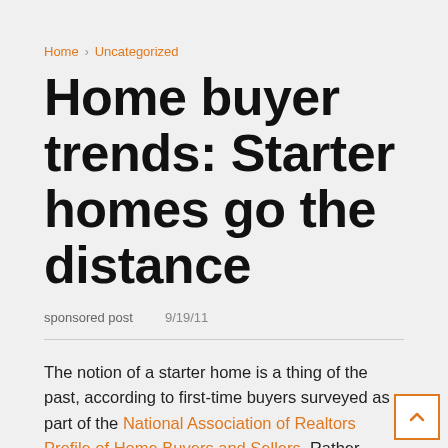Home › Uncategorized
Home buyer trends: Starter homes go the distance
sponsored post   9/19/11
The notion of a starter home is a thing of the past, according to first-time buyers surveyed as part of the National Association of Realtors Profile of Home Buyers and Sellers. Rather, these buyers say they plan to stay in their first home for 10 years, on average.
Knowing that first-time buyers are looking to live in their first